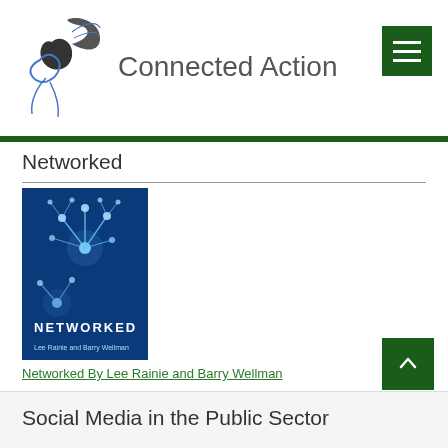[Figure (logo): Connected Action logo — stylized bird/pen icon in dark gray and blue, with 'Connected Action' text in gray]
Networked
[Figure (photo): Book cover of 'Networked' — blue background with glowing plant/spore network imagery and the title NETWORKED in white text]
Networked By Lee Rainie and Barry Wellman
Social Media in the Public Sector